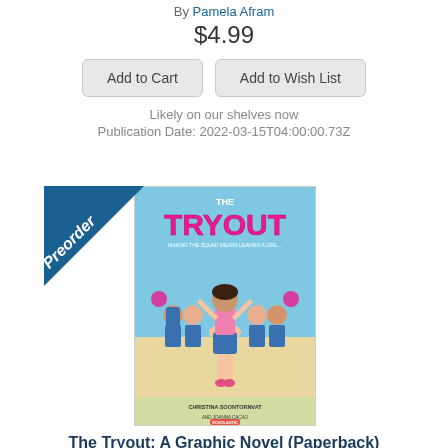By Pamela Afram
$4.99
Add to Cart
Add to Wish List
Likely on our shelves now
Publication Date: 2022-03-15T04:00:00.73Z
[Figure (illustration): Book cover for 'The Tryout: A Graphic Novel' showing a girl in pink top and blue skirt with cheerleaders behind her, with a Preorder banner in top left corner]
The Tryout: A Graphic Novel (Paperback)
By Christina Soontornvat, Joanna Cacao (Illustrator)
$12.99
Add to Cart
Add to Wish List